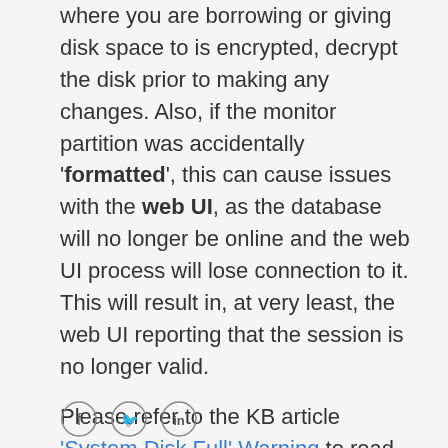where you are borrowing or giving disk space to is encrypted, decrypt the disk prior to making any changes. Also, if the monitor partition was accidentally 'formatted', this can cause issues with the web UI, as the database will no longer be online and the web UI process will lose connection to it. This will result in, at very least, the web UI reporting that the session is no longer valid.
Please refer to the KB article 'System Disk Full' Warning to read more on this topic.
[Figure (other): Social media sharing icons: Facebook (f), Twitter (bird), LinkedIn (in)]